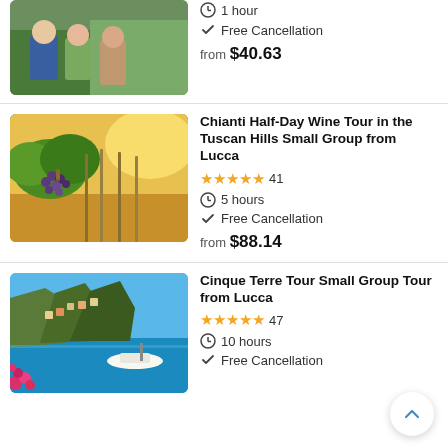[Figure (photo): People wine tasting in a vineyard]
1 hour
Free Cancellation
from $40.63
[Figure (photo): Grape clusters on a vine in Tuscan vineyard with warm sunlight]
Chianti Half-Day Wine Tour in the Tuscan Hills Small Group from Lucca
★★★★★ 41
5 hours
Free Cancellation
from $88.14
[Figure (photo): Cinque Terre coastal view with blue water, boat, and pink flowers]
Cinque Terre Tour Small Group Tour from Lucca
★★★★★ 47
10 hours
Free Cancellation